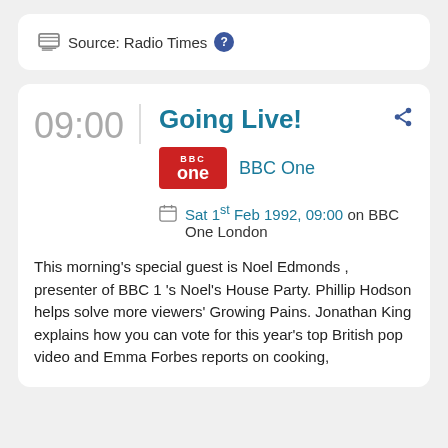Source: Radio Times ?
09:00
Going Live!
BBC One
Sat 1st Feb 1992, 09:00 on BBC One London
This morning's special guest is Noel Edmonds , presenter of BBC 1 's Noel's House Party. Phillip Hodson helps solve more viewers' Growing Pains. Jonathan King explains how you can vote for this year's top British pop video and Emma Forbes reports on cooking,